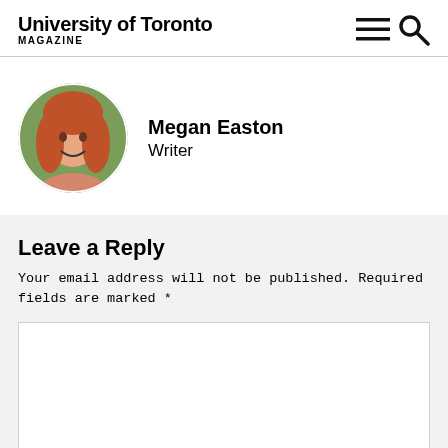University of Toronto MAGAZINE
[Figure (photo): Circular profile photo of Megan Easton, a smiling woman with long red hair, outdoors with green foliage in background]
Megan Easton
Writer
Leave a Reply
Your email address will not be published. Required fields are marked *